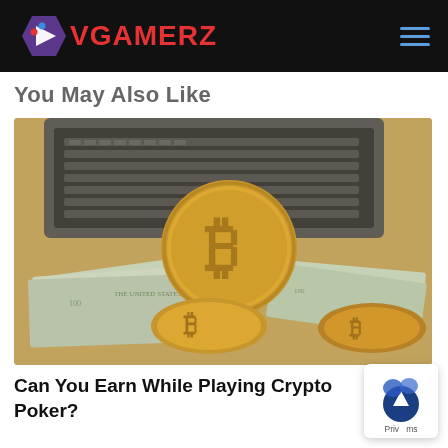VGAMERZ
You May Also Like
[Figure (photo): Three gold Bitcoin coins resting on top of stacked US dollar bills, with an open laptop keyboard visible in the background on a wooden surface.]
Can You Earn While Playing Crypto Poker?